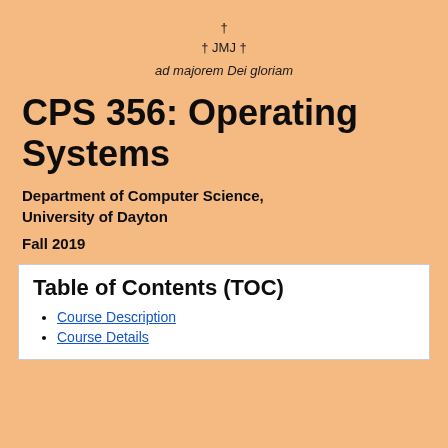† 
† JMJ †
ad majorem Dei gloriam
CPS 356: Operating Systems
Department of Computer Science, University of Dayton
Fall 2019
Table of Contents (TOC)
Course Description
Course Details